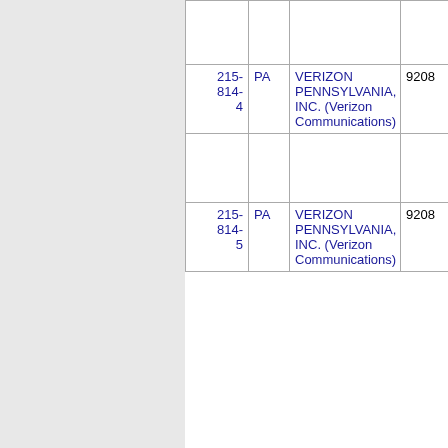| Number | State | Name | Code |  |
| --- | --- | --- | --- | --- |
|  |  |  |  |  |
| 215-814-4 | PA | VERIZON PENNSYLVANIA, INC. (Verizon Communications) | 9208 | P |
| 215-814-5 | PA | VERIZON PENNSYLVANIA, INC. (Verizon Communications) | 9208 | P |